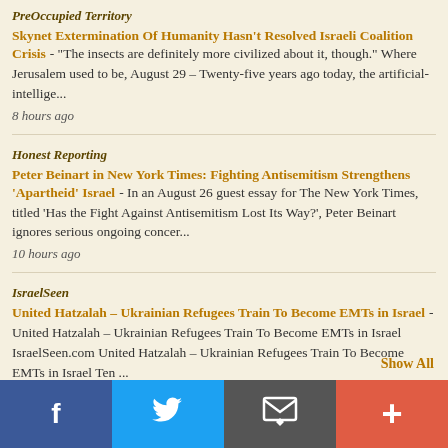PreOccupied Territory
Skynet Extermination Of Humanity Hasn't Resolved Israeli Coalition Crisis - "The insects are definitely more civilized about it, though." Where Jerusalem used to be, August 29 – Twenty-five years ago today, the artificial-intellige...
8 hours ago
Honest Reporting
Peter Beinart in New York Times: Fighting Antisemitism Strengthens 'Apartheid' Israel - In an August 26 guest essay for The New York Times, titled 'Has the Fight Against Antisemitism Lost Its Way?', Peter Beinart ignores serious ongoing concer...
10 hours ago
IsraelSeen
United Hatzalah – Ukrainian Refugees Train To Become EMTs in Israel - United Hatzalah – Ukrainian Refugees Train To Become EMTs in Israel IsraelSeen.com United Hatzalah – Ukrainian Refugees Train To Become EMTs in Israel Ten ...
10 hours ago
Show All